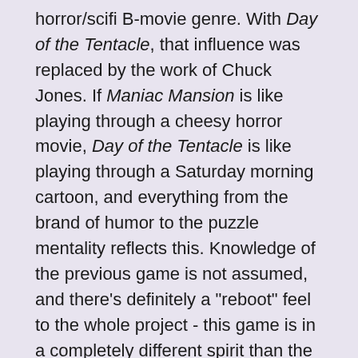horror/scifi B-movie genre. With Day of the Tentacle, that influence was replaced by the work of Chuck Jones. If Maniac Mansion is like playing through a cheesy horror movie, Day of the Tentacle is like playing through a Saturday morning cartoon, and everything from the brand of humor to the puzzle mentality reflects this. Knowledge of the previous game is not assumed, and there's definitely a "reboot" feel to the whole project - this game is in a completely different spirit than the original, sporting a new style and tone. Not that this change was an unwelcome one. In fact, that Day of the Tentacle is very much Maniac Mansion's equal in terms of quality is probably the mildest praise one will see bestowed on the game, which tends to be considered among the best LucasArts produced.
Day of the Tentacle begins with Green Tentacle and Purple Tentacle, the bizarre Edison family's